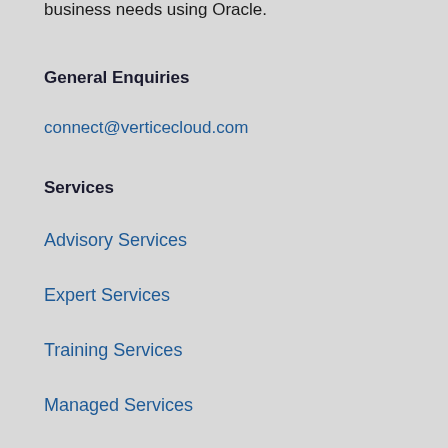business needs using Oracle.
General Enquiries
connect@verticecloud.com
Services
Advisory Services
Expert Services
Training Services
Managed Services